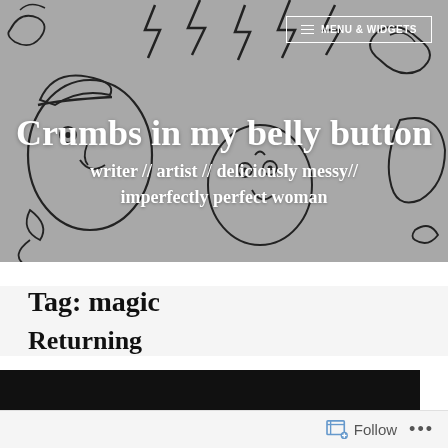[Figure (illustration): Hand-drawn line art illustration of abstract faces and shapes on grey background, covering the header banner area.]
Crumbs in my belly button
writer // artist // deliciously messy// imperfectly perfect woman
Tag: magic
Returning
[Figure (photo): Dark/black image bar, partially visible post image.]